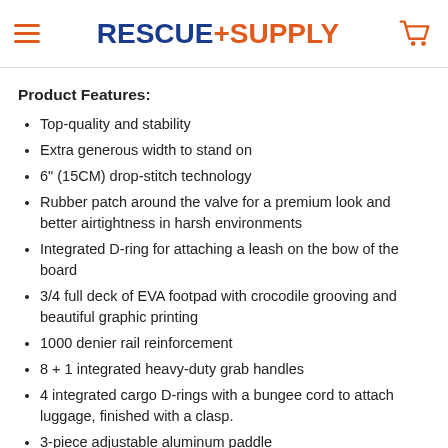RESCUE+SUPPLY
Product Features:
Top-quality and stability
Extra generous width to stand on
6" (15CM) drop-stitch technology
Rubber patch around the valve for a premium look and better airtightness in harsh environments
Integrated D-ring for attaching a leash on the bow of the board
3/4 full deck of EVA footpad with crocodile grooving and beautiful graphic printing
1000 denier rail reinforcement
8 + 1 integrated heavy-duty grab handles
4 integrated cargo D-rings with a bungee cord to attach luggage, finished with a clasp.
3-piece adjustable aluminum paddle
Aqua Marina Double Action Pump LIQUID AIR V1 for fast